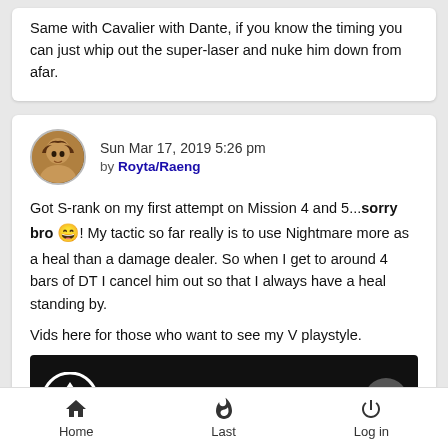Same with Cavalier with Dante, if you know the timing you can just whip out the super-laser and nuke him down from afar.
Sun Mar 17, 2019 5:26 pm by Royta/Raeng
Got S-rank on my first attempt on Mission 4 and 5...sorry bro 😄! My tactic so far really is to use Nightmare more as a heal than a damage dealer. So when I get to around 4 bars of DT I cancel him out so that I always have a heal standing by.
Vids here for those who want to see my V playstyle.
[Figure (screenshot): Video thumbnail showing DMC5 DMD Mission 4 - S rank (V) with a game logo and colorful bottom bar]
Home  Last  Log in